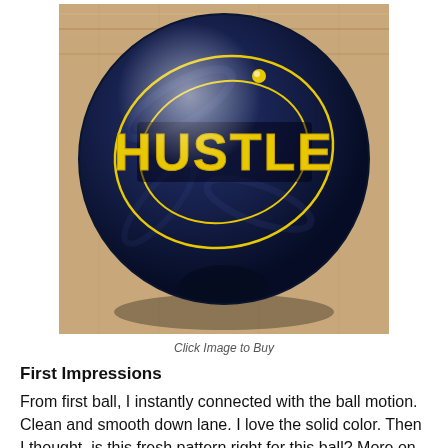[Figure (photo): A dark navy blue bowling ball with a glossy finish, featuring the 'HUSTLE' logo in yellow lettering with decorative circular lines, sitting on a wooden surface.]
Click Image to Buy
First Impressions
From first ball, I instantly connected with the ball motion. Clean and smooth down lane. I love the solid color. Then I thought, is this fresh pattern right for this ball? More on that